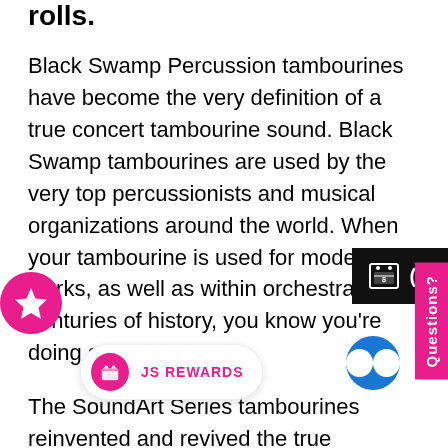rolls.
Black Swamp Percussion tambourines have become the very definition of a true concert tambourine sound. Black Swamp tambourines are used by the very top percussionists and musical organizations around the world. When your tambourine is used for modern works, as well as within orchestras with centuries of history, you know you're doing something right.
The SoundArt Series tambourines reinvented and revived the true orchestral tambourine sound by returning to the superior tone that is produced only with a steam-bent, single ply shell. The shell is co...s made from tonally rich metal alloys and quality calfskin to create the de fac...